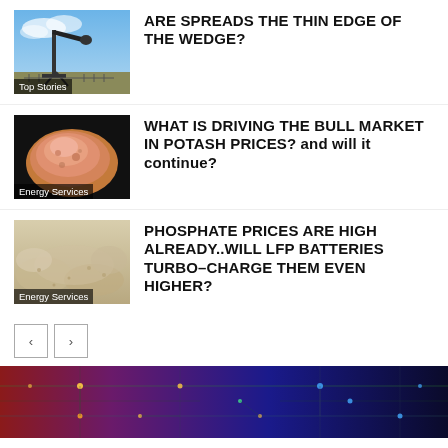[Figure (photo): Oil pump jack against blue sky — Top Stories thumbnail]
ARE SPREADS THE THIN EDGE OF THE WEDGE?
[Figure (photo): Pink/orange potash mineral rock — Energy Services thumbnail]
WHAT IS DRIVING THE BULL MARKET IN POTASH PRICES? and will it continue?
[Figure (photo): Pale phosphate powder — Energy Services thumbnail]
PHOSPHATE PRICES ARE HIGH ALREADY..WILL LFP BATTERIES TURBO–CHARGE THEM EVEN HIGHER?
[Figure (photo): Circuit board with colorful lights — bottom banner image]